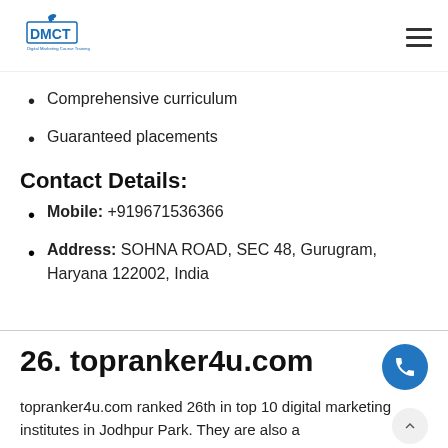DMCT Digital Marketing Course Training
Comprehensive curriculum
Guaranteed placements
Contact Details:
Mobile: +919671536366
Address: SOHNA ROAD, SEC 48, Gurugram, Haryana 122002, India
26. topranker4u.com
topranker4u.com ranked 26th in top 10 digital marketing institutes in Jodhpur Park. They are also a